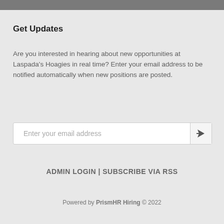Get Updates
Are you interested in hearing about new opportunities at Laspada's Hoagies in real time? Enter your email address to be notified automatically when new positions are posted.
Enter your email address
ADMIN LOGIN | SUBSCRIBE VIA RSS
Powered by PrismHR Hiring © 2022